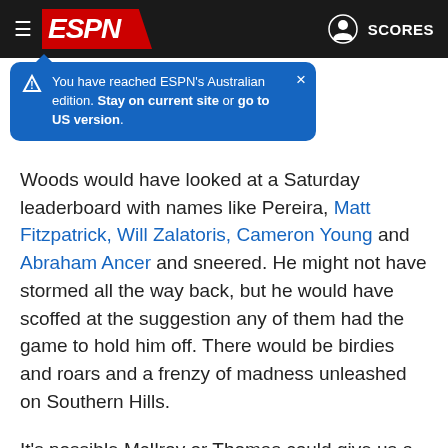ESPN — SCORES
You have reached ESPN's Australian edition. Stay on current site or go to US version.
Woods would have looked at a Saturday leaderboard with names like Pereira, Matt Fitzpatrick, Will Zalatoris, Cameron Young and Abraham Ancer and sneered. He might not have stormed all the way back, but he would have scoffed at the suggestion any of them had the game to hold him off. There would be birdies and roars and a frenzy of madness unleashed on Southern Hills.
It's possible McIlroy or Thomas could give us a similar show Sunday. There just isn't any reason to expect it, which may be the most deflating reality of them all.
[Figure (infographic): Social share icons: Facebook, Twitter, Messenger, WhatsApp, Email]